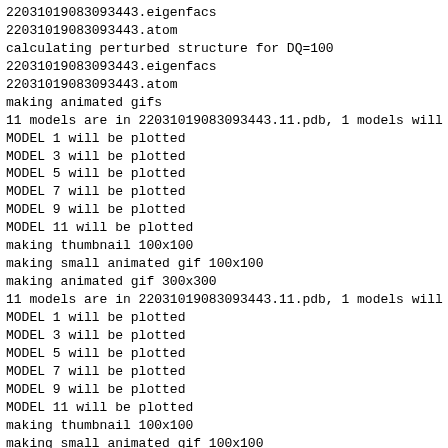22031019083093443.eigenfacs
22031019083093443.atom
calculating perturbed structure for DQ=100
22031019083093443.eigenfacs
22031019083093443.atom
making animated gifs
11 models are in 22031019083093443.11.pdb, 1 models will
MODEL 1 will be plotted
MODEL 3 will be plotted
MODEL 5 will be plotted
MODEL 7 will be plotted
MODEL 9 will be plotted
MODEL 11 will be plotted
making thumbnail 100x100
making small animated gif 100x100
making animated gif 300x300
11 models are in 22031019083093443.11.pdb, 1 models will
MODEL 1 will be plotted
MODEL 3 will be plotted
MODEL 5 will be plotted
MODEL 7 will be plotted
MODEL 9 will be plotted
MODEL 11 will be plotted
making thumbnail 100x100
making small animated gif 100x100
making animated gif 300x300
11 models are in 22031019083093443.11.pdb, 1 models will
MODEL 1 will be plotted
MODEL 3 will be plotted
MODEL 5 will be plotted
MODEL 7 will be plotted